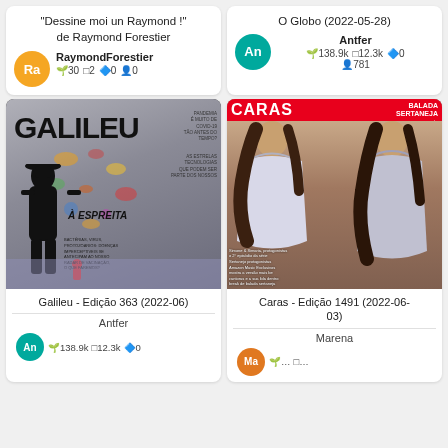"Dessine moi un Raymond !" de Raymond Forestier
RaymondForestier
30  2  0  0
O Globo (2022-05-28)
Antfer
138.9k  12.3k  0  781
[Figure (photo): Magazine cover of Galileu - Edition 363 (2022-06), showing a black silhouette of a person with colorful microorganism illustrations and text 'À Espreita']
Galileu - Edição 363 (2022-06)
Antfer
[Figure (photo): Magazine cover of Caras - Edition 1491 (2022-06-03), showing two women in sparkly outfits with 'CARAS' and 'BALADA SERTANEJA' text]
Caras - Edição 1491 (2022-06-03)
Marena